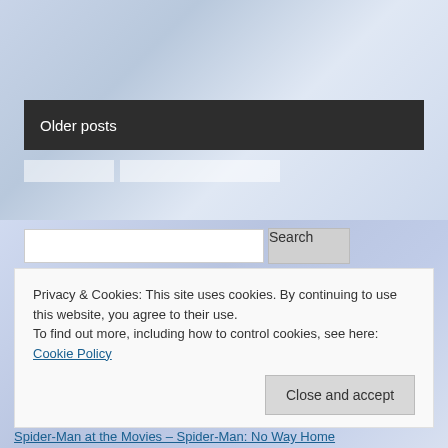[Figure (screenshot): Website background showing comic book or movie poster imagery in muted blue tones]
Older posts
[Figure (screenshot): Search input field with Search button]
Privacy & Cookies: This site uses cookies. By continuing to use this website, you agree to their use.
To find out more, including how to control cookies, see here: Cookie Policy
Close and accept
Spider-Man at the Movies – Spider-Man: No Way Home